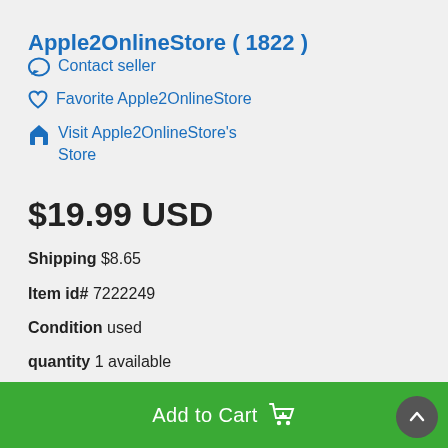Apple2OnlineStore ( 1822 )
Contact seller
Favorite Apple2OnlineStore
Visit Apple2OnlineStore's Store
$19.99 USD
Shipping $8.65
Item id# 7222249
Condition used
quantity 1 available
Add to Cart